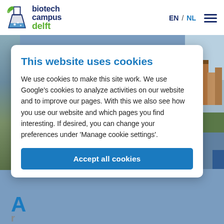[Figure (logo): Biotech Campus Delft logo with flask icon and text]
EN / NL ☰
This website uses cookies
We use cookies to make this site work. We use Google's cookies to analyze activities on our website and to improve our pages. With this we also see how you use our website and which pages you find interesting. If desired, you can change your preferences under 'Manage cookie settings'.
Accept all cookies